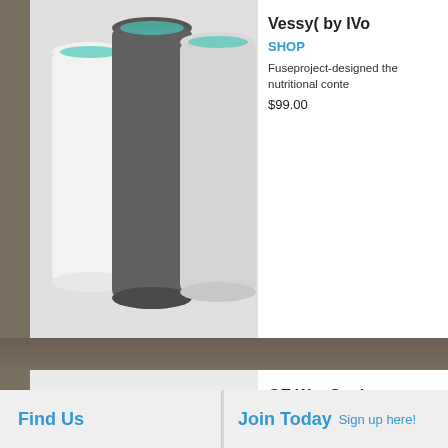[Figure (photo): Three cylindrical drinking vessels/tumblers in white, dark gray, and light gray colors, shown from above at an angle on a white background.]
Vessy( by IVo
SHOP
Fuseproject-designed ... the nutritional conte...
$99.00
[Figure (photo): A silver GE WattStation EV charger device being plugged in by a hand holding a black connector.]
GE WattStation fuseproject
READ
Smart EV charger fr... could start lining city... next year.
Find Us
Join Today
Sign up here!